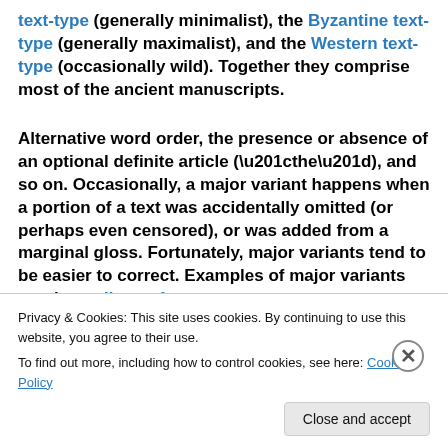text-type (generally minimalist), the Byzantine text-type (generally maximalist), and the Western text-type (occasionally wild). Together they comprise most of the ancient manuscripts.
Alternative word order, the presence or absence of an optional definite article (“the”), and so on. Occasionally, a major variant happens when a portion of a text was accidentally omitted (or perhaps even censored), or was added from a marginal gloss. Fortunately, major variants tend to be easier to correct. Examples of major variants are the endings of
Privacy & Cookies: This site uses cookies. By continuing to use this website, you agree to their use.
To find out more, including how to control cookies, see here: Cookie Policy
Close and accept